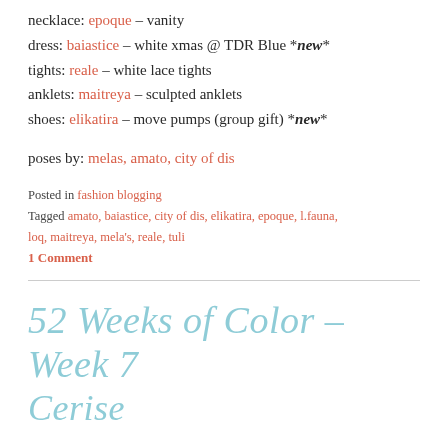necklace: epoque – vanity
dress: baiastice – white xmas @ TDR Blue *new*
tights: reale – white lace tights
anklets: maitreya – sculpted anklets
shoes: elikatira – move pumps (group gift) *new*
poses by: melas, amato, city of dis
Posted in fashion blogging
Tagged amato, baiastice, city of dis, elikatira, epoque, l.fauna, loq, maitreya, mela's, reale, tuli
1 Comment
52 Weeks of Color – Week 7 Cerise